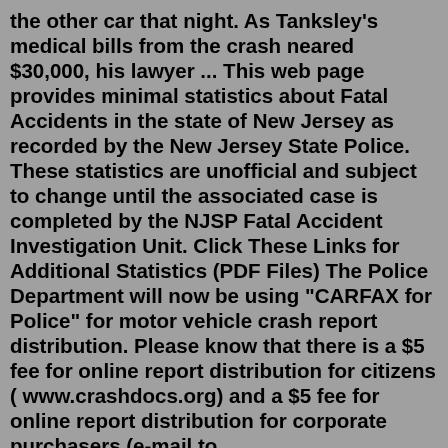the other car that night. As Tanksley's medical bills from the crash neared $30,000, his lawyer ... This web page provides minimal statistics about Fatal Accidents in the state of New Jersey as recorded by the New Jersey State Police. These statistics are unofficial and subject to change until the associated case is completed by the NJSP Fatal Accident Investigation Unit. Click These Links for Additional Statistics (PDF Files) The Police Department will now be using "CARFAX for Police" for motor vehicle crash report distribution. Please know that there is a $5 fee for online report distribution for citizens (www.crashdocs.org) and a $5 fee for online report distribution for corporate purchasers (e-mail to crashreports@carfax.com ).When one happens to you, New Jersey requires that you report it if it involves injury, death, or over $500 worth of damage to vehicles or property. If law enforcement is not called to the accident scene and property damage was the only result, you'll need to send a letter to your local Motor Vehicle Commission (MVC) ...